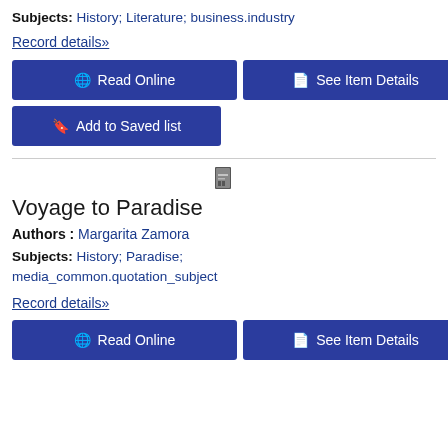Subjects: History; Literature; business.industry
Record details»
Read Online
See Item Details
Add to Saved list
Voyage to Paradise
Authors : Margarita Zamora
Subjects: History; Paradise; media_common.quotation_subject
Record details»
Read Online
See Item Details